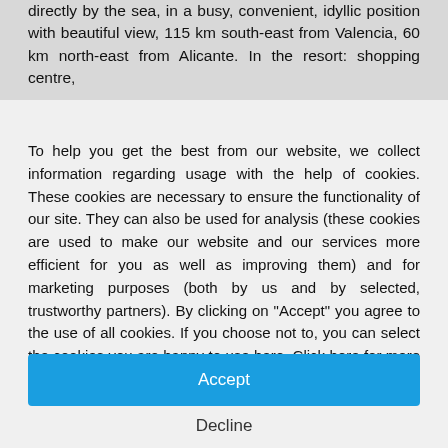directly by the sea, in a busy, convenient, idyllic position with beautiful view, 115 km south-east from Valencia, 60 km north-east from Alicante. In the resort: shopping centre,
To help you get the best from our website, we collect information regarding usage with the help of cookies. These cookies are necessary to ensure the functionality of our site. They can also be used for analysis (these cookies are used to make our website and our services more efficient for you as well as improving them) and for marketing purposes (both by us and by selected, trustworthy partners). By clicking on "Accept" you agree to the use of all cookies. If you choose not to, you can select the cookies you are happy to use here. Click here for more information about our privacy policy.
Accept
Decline
Configure